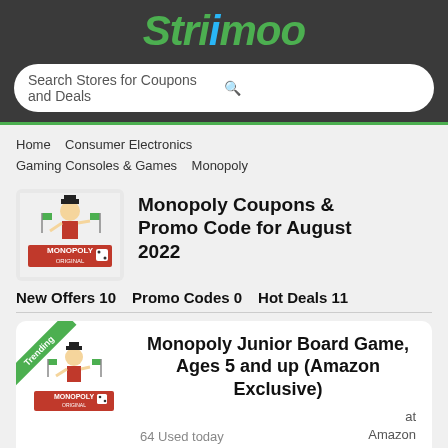Strimoo
Search Stores for Coupons and Deals
Home   Consumer Electronics   Gaming Consoles & Games   Monopoly
Monopoly Coupons & Promo Code for August 2022
New Offers 10   Promo Codes 0   Hot Deals 11
Monopoly Junior Board Game, Ages 5 and up (Amazon Exclusive)
64 Used today   at Amazon